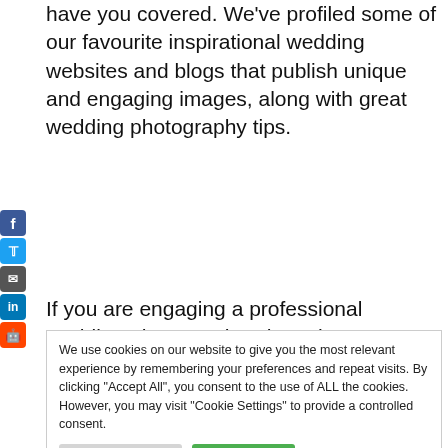have you covered. We've profiled some of our favourite inspirational wedding websites and blogs that publish unique and engaging images, along with great wedding photography tips.
If you are engaging a professional wedding photographer then chances are you are also hiring a
We use cookies on our website to give you the most relevant experience by remembering your preferences and repeat visits. By clicking "Accept All", you consent to the use of ALL the cookies. However, you may visit "Cookie Settings" to provide a controlled consent.